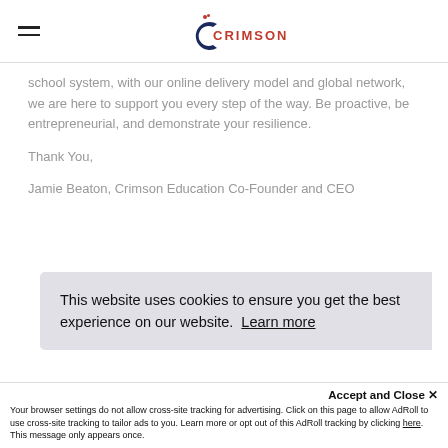Crimson Education
school system, with our online delivery model and global network, we are here to support you every step of the way. Be proactive, be entrepreneurial, and demonstrate your resilience.
Thank You,
Jamie Beaton, Crimson Education Co-Founder and CEO
This website uses cookies to ensure you get the best experience on our website.  Learn more
Accept and Close ✕
Your browser settings do not allow cross-site tracking for advertising. Click on this page to allow AdRoll to use cross-site tracking to tailor ads to you. Learn more or opt out of this AdRoll tracking by clicking here. This message only appears once.